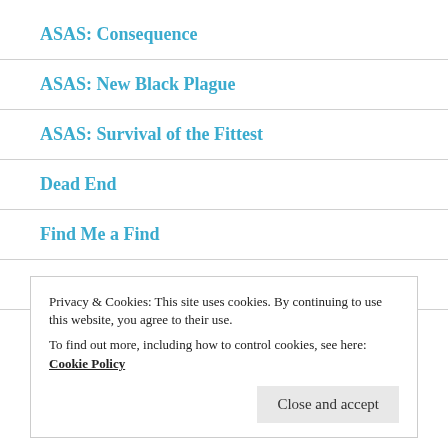ASAS: Consequence
ASAS: New Black Plague
ASAS: Survival of the Fittest
Dead End
Find Me a Find
Poetry
Privacy & Cookies: This site uses cookies. By continuing to use this website, you agree to their use.
To find out more, including how to control cookies, see here: Cookie Policy